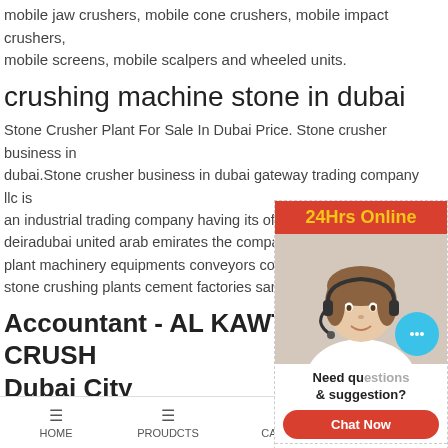mobile jaw crushers, mobile cone crushers, mobile impact crushers, mobile screens, mobile scalpers and wheeled units.
crushing machine stone in dubai
Stone Crusher Plant For Sale In Dubai Price. Stone crusher business in dubai.Stone crusher business in dubai gateway trading company llc is an industrial trading company having its offices and showroom in deiradubai united arab emirates the company specia... plant machinery equipments conveyors components or stone crushing plants cement factories sand washin...
Accountant - AL KAWTHAR CRUSH Dubai City
2021-7-13 · Accountant – AL KAWTHAR CRUSHER... ow for a Jobs, News, SEO Tips – Whatever You Like! W... service corporation serving as a business management... Marketing and SEO, design, implementation.
HOME   PROUDCTS   CASES   limingjlmofen